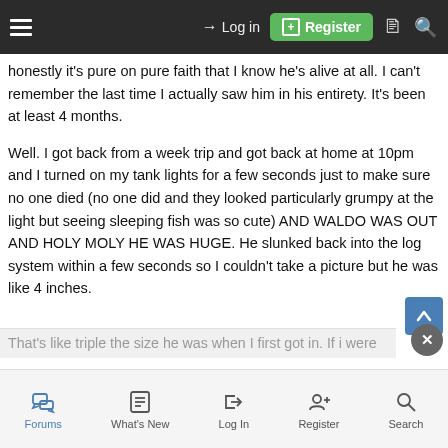≡  Log in  Register
honestly it's pure on pure faith that I know he's alive at all. I can't remember the last time I actually saw him in his entirety. It's been at least 4 months.
Well. I got back from a week trip and got back at home at 10pm and I turned on my tank lights for a few seconds just to make sure no one died (no one did and they looked particularly grumpy at the light but seeing sleeping fish was so cute) AND WALDO WAS OUT AND HOLY MOLY HE WAS HUGE. He slunked back into the log system within a few seconds so I couldn't take a picture but he was like 4 inches.
That's like triple the size he was when I first got in. If i were
Forums   What's New   Log In   Register   Search